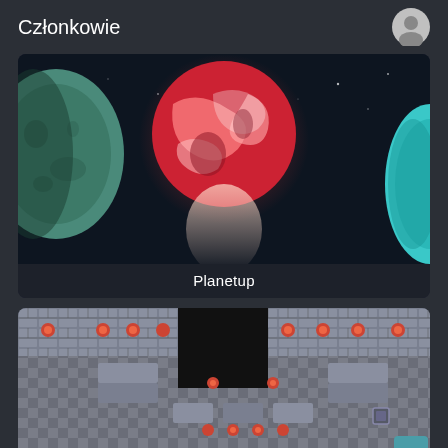Członkowie
[Figure (screenshot): Game screenshot showing space scene with planets - a red/pink swirling planet in center, teal moon on left, teal planet on right, dark space background with stars. Label 'Planetup' at bottom.]
Planetup
[Figure (screenshot): Game screenshot showing top-down pixel art dungeon/platform level with checkered gray floor tiles, brick wall tiles along top, small red enemies/items, and a black void area in upper center.]